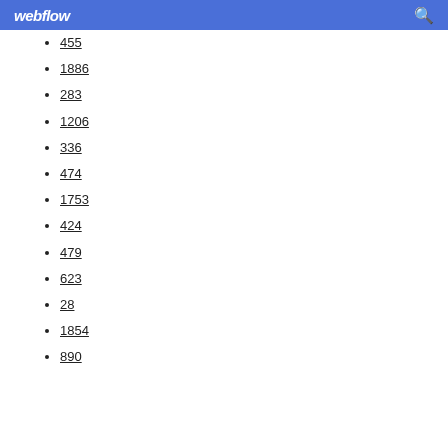webflow
455
1886
283
1206
336
474
1753
424
479
623
28
1854
890